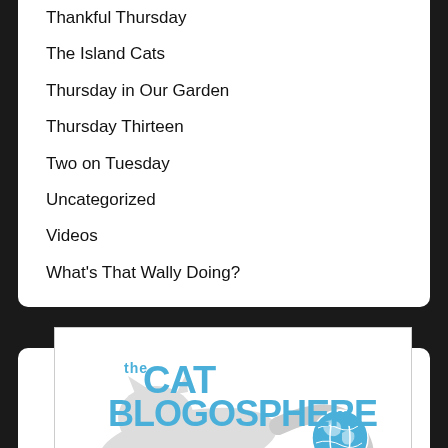Thankful Thursday
The Island Cats
Thursday in Our Garden
Thursday Thirteen
Two on Tuesday
Uncategorized
Videos
What's That Wally Doing?
[Figure (logo): The Cat Blogosphere logo with a cat silhouette, globe icon, and text 'blog.catblogosphere.com catblogosphere@scrr.com']